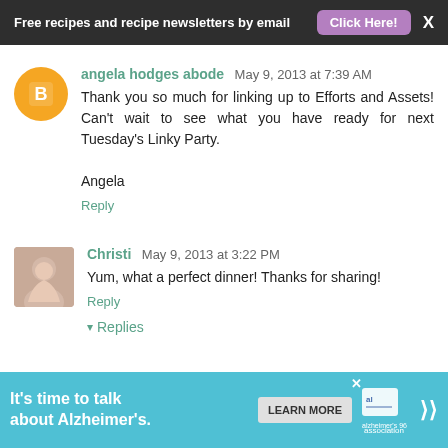Free recipes and recipe newsletters by email  Click Here!  X
angela hodges abode  May 9, 2013 at 7:39 AM
Thank you so much for linking up to Efforts and Assets! Can't wait to see what you have ready for next Tuesday's Linky Party.

Angela
Reply
Christi  May 9, 2013 at 3:22 PM
Yum, what a perfect dinner! Thanks for sharing!
Reply
▾ Replies
[Figure (infographic): Advertisement banner: It's time to talk about Alzheimer's. Learn More button. Alzheimer's Association logo.]